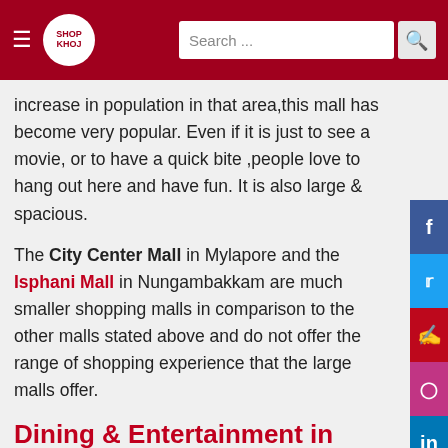SHOP KHOJ | Search ...
increase in population in that area,this mall has become very popular. Even if it is just to see a movie, or to have a quick bite ,people love to hang out here and have fun. It is also large & spacious.
The City Center Mall in Mylapore and the Isphani Mall in Nungambakkam are much smaller shopping malls in comparison to the other malls stated above and do not offer the range of shopping experience that the large malls offer.
Dining & Entertainment in Chennai Shopping Malls
The Shopping Malls  in Chennai also present multiple dining and entertainment options for the family .